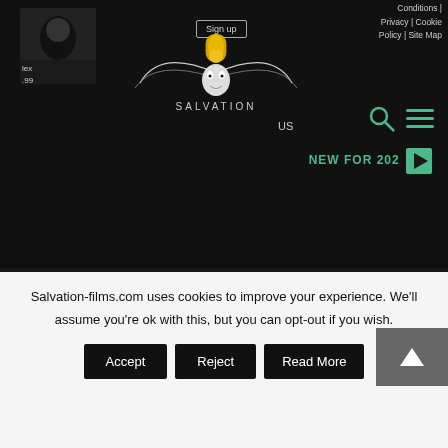[Figure (screenshot): Website header with logo, navigation links (Conditions, Privacy, Cookie Policy, Site Map), Sign up button, Salvation Films logo with ornate design, search and menu icons, NEW FOR 202x text, shopping cart icon]
Conditions | Privacy | Cookie Policy | Site Map
NEW FOR 202
Pete
[Figure (photo): Product image for Walker's For Men Only & School For Sex book/DVD]
Walker's For Men Only & School For Sex
£13.99
[Figure (infographic): Social media icons: Facebook, Instagram, Twitter, TikTok, YouTube]
Wholesale Opportunities for Retailers
Apply Now
YOU CAN PAY USING
Salvation-films.com uses cookies to improve your experience. We'll assume you're ok with this, but you can opt-out if you wish.
Accept
Reject
Read More